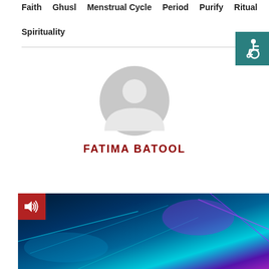Faith   Ghusl   Menstrual Cycle   Period   Purify   Ritual   Spirituality
[Figure (illustration): Circular accessibility icon (wheelchair user in white) on teal background square, positioned top-right]
[Figure (illustration): Generic grey user avatar/profile silhouette circle icon, centered on page]
FATIMA BATOOL
[Figure (photo): Dark abstract technology/light streaks image with cyan, blue and purple tones; has a red audio/speaker button overlay in top-left corner]